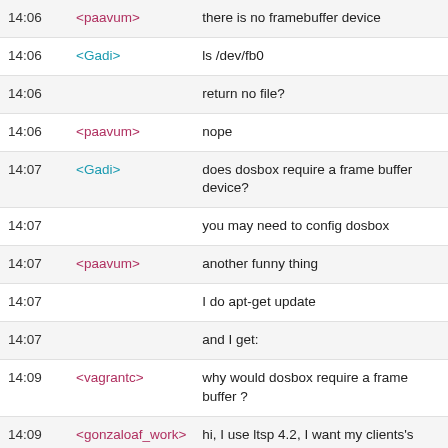| Time | User | Message |
| --- | --- | --- |
| 14:06 | <paavum> | there is no framebuffer device |
| 14:06 | <Gadi> | ls /dev/fb0 |
| 14:06 |  | return no file? |
| 14:06 | <paavum> | nope |
| 14:07 | <Gadi> | does dosbox require a frame buffer device? |
| 14:07 |  | you may need to config dosbox |
| 14:07 | <paavum> | another funny thing |
| 14:07 |  | I do apt-get update |
| 14:07 |  | and I get: |
| 14:09 | <vagrantc> | why would dosbox require a frame buffer ? |
| 14:09 | <gonzaloaf_work> | hi, I use ltsp 4.2, I want my clients's home to be erased every time before the y log in, how can I do that? |
| 14:10 | <paavum> | now I cant get to the pastebot from the thin client |
| 14:10 | <Gadi> |  |